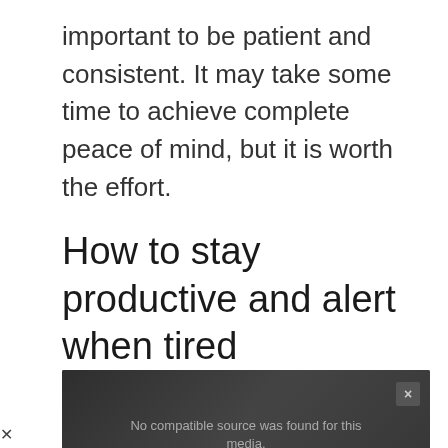important to be patient and consistent. It may take some time to achieve complete peace of mind, but it is worth the effort.
How to stay productive and alert when tired
[Figure (screenshot): Video player screenshot showing a dark background with a loading spinner (green circular arc) and an X symbol, with text 'No compatible source was found for this media.' and a scroll-up arrow button in the bottom right.]